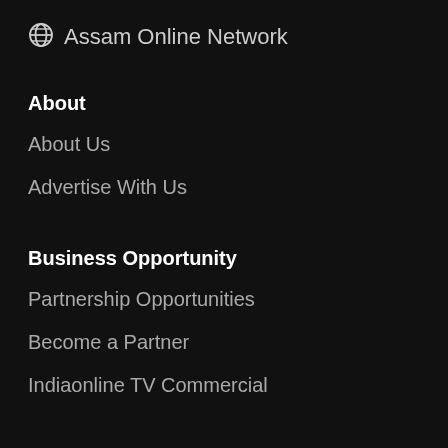Assam Online Network
About
About Us
Advertise With Us
Business Opportunity
Partnership Opportunities
Become a Partner
Indiaonline TV Commercial
Contact